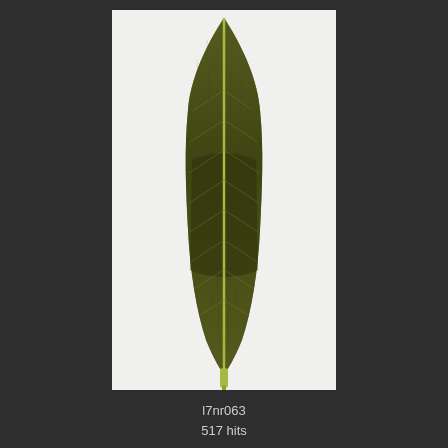[Figure (photo): A pressed/scanned leaf specimen photographed against a white background. The leaf is long and narrow (lanceolate shape) with a prominent yellowish-green midrib and visible fine venation. The leaf surface is dark olive-green. The petiole (stem) is visible at the bottom.]
l7nr063
517 hits